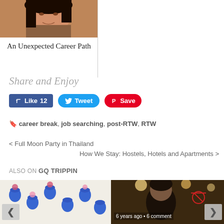[Figure (photo): Portrait photo of a woman with dark hair, cropped at face/shoulders, warm orange/brown tones]
An Unexpected Career Path
Share and Enjoy
Like 12  Tweet  Save
career break, job searching, post-RTW, RTW
< Full Moon Party in Thailand
How We Stay: Hostels, Hotels and Apartments >
ALSO ON GQ TRIPPIN
[Figure (photo): Colorful photo of blue flower pots on a white wall with flowers]
[Figure (photo): Photo of a person in a dimly lit restaurant/bar setting, text overlay: 6 years ago • 6 comments]